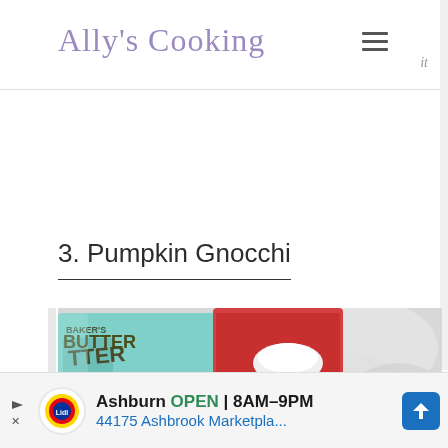Ally's Cooking
3. Pumpkin Gnocchi
[Figure (photo): Photo of food ingredients including colorful cardboard boxes and what appears to be a baked or bread item in the foreground on a marble surface]
Ashburn OPEN 8AM–9PM 44175 Ashbrook Marketpla...